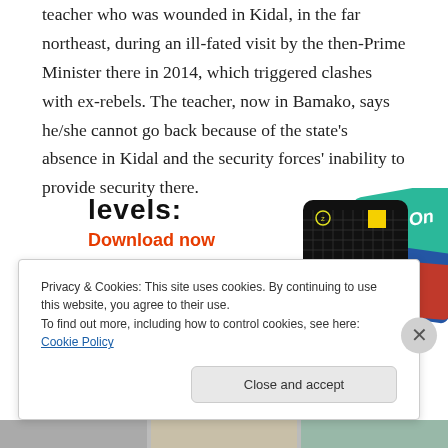teacher who was wounded in Kidal, in the far northeast, during an ill-fated visit by the then-Prime Minister there in 2014, which triggered clashes with ex-rebels. The teacher, now in Bamako, says he/she cannot go back because of the state's absence in Kidal and the security forces' inability to provide security there.
[Figure (other): Advertisement banner showing '10 LEVELS:' text, 'Download now' in red, and a black card with '99% INVISIBLE' text and yellow square, alongside a teal/red card partially visible.]
Privacy & Cookies: This site uses cookies. By continuing to use this website, you agree to their use.
To find out more, including how to control cookies, see here: Cookie Policy
Close and accept